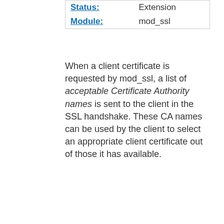| Status: | Extension |
| Module: | mod_ssl |
When a client certificate is requested by mod_ssl, a list of acceptable Certificate Authority names is sent to the client in the SSL handshake. These CA names can be used by the client to select an appropriate client certificate out of those it has available.
If neither of the directives SSLCADNRequestPath or SSLCADNRequestFile are given, then the set of acceptable CA names sent to the client is the names of all the CA certificates given by the SSLCACertificateFile